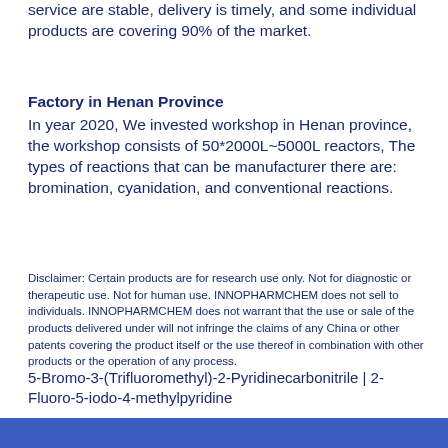service are stable, delivery is timely, and some individual products are covering 90% of the market.
Factory in Henan Province
In year 2020, We invested workshop in Henan province, the workshop consists of 50*2000L~5000L reactors, The types of reactions that can be manufacturer there are: bromination, cyanidation, and conventional reactions.
Disclaimer: Certain products are for research use only. Not for diagnostic or therapeutic use. Not for human use. INNOPHARMCHEM does not sell to individuals. INNOPHARMCHEM does not warrant that the use or sale of the products delivered under will not infringe the claims of any China or other patents covering the product itself or the use thereof in combination with other products or the operation of any process.
5-Bromo-3-(Trifluoromethyl)-2-Pyridinecarbonitrile | 2-Fluoro-5-iodo-4-methylpyridine